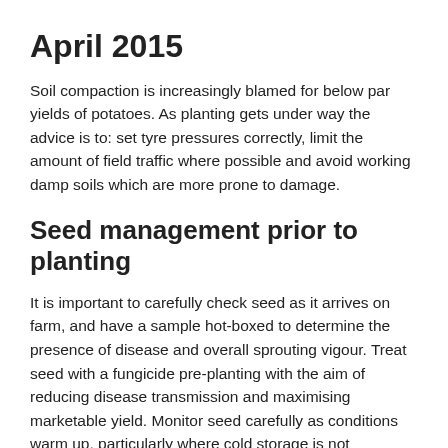April 2015
Soil compaction is increasingly blamed for below par yields of potatoes. As planting gets under way the advice is to: set tyre pressures correctly, limit the amount of field traffic where possible and avoid working damp soils which are more prone to damage.
Seed management prior to planting
It is important to carefully check seed as it arrives on farm, and have a sample hot-boxed to determine the presence of disease and overall sprouting vigour. Treat seed with a fungicide pre-planting with the aim of reducing disease transmission and maximising marketable yield. Monitor seed carefully as conditions warm up, particularly where cold storage is not available, to prevent any deterioration of quality which can occur quickly at this time of year prior to planting.